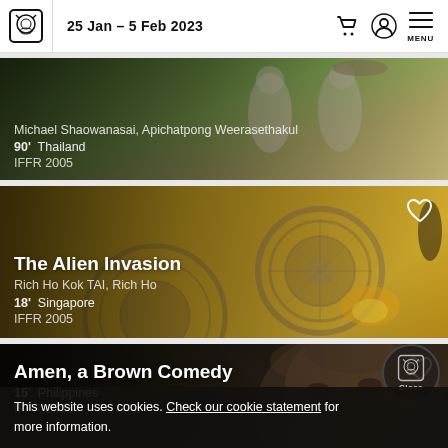25 Jan – 5 Feb 2023
[Figure (photo): Film card - partial view showing figures in traditional Thai costumes in a green outdoor setting. Director: Michael Shaowanasai, Apichatpong Weerasethakul. 90' Thailand, IFFR 2005]
[Figure (photo): Film card - The Alien Invasion by Rich Ho Kok TAI, Rich Ho. 18' Singapore. IFFR 2005. Background shows decorative circular shields/gongs in gold tones with explosion effects.]
[Figure (photo): Film card - Amen, a Brown Comedy. 15' Philippines. IFFR 2005. Background shows close-up of person's face looking up, hands raised.]
This website uses cookies. Check our cookie statement for more information.